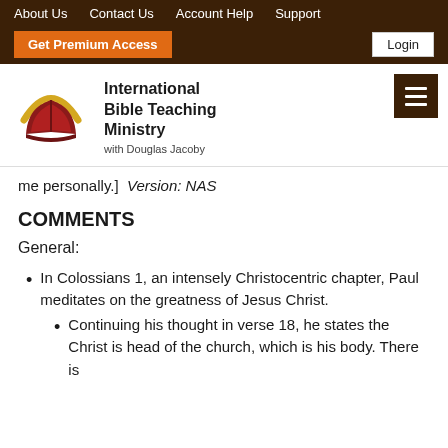About Us   Contact Us   Account Help   Support
Get Premium Access   Login
[Figure (logo): International Bible Teaching Ministry logo with open book and golden arch, with text 'International Bible Teaching Ministry with Douglas Jacoby']
me personally.]  Version: NAS
COMMENTS
General:
In Colossians 1, an intensely Christocentric chapter, Paul meditates on the greatness of Jesus Christ.
Continuing his thought in verse 18, he states the Christ is head of the church, which is his body. There is